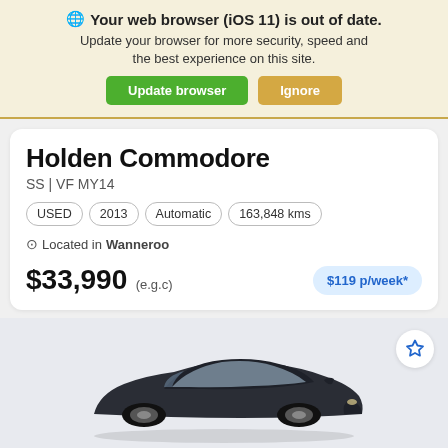🌐 Your web browser (iOS 11) is out of date. Update your browser for more security, speed and the best experience on this site.
Update browser | Ignore
Holden Commodore
SS | VF MY14
USED  2013  Automatic  163,848 kms
Located in Wanneroo
$33,990 (e.g.c)  $119 p/week*
[Figure (photo): Dark coloured Holden Commodore sedan photographed from a front-three-quarter angle on a light grey background]